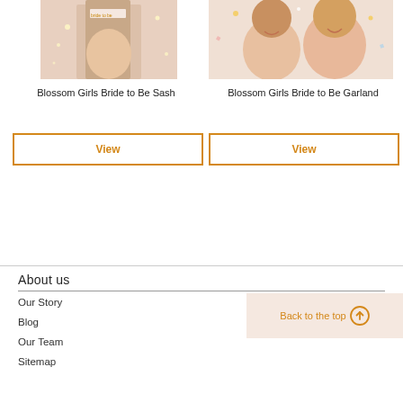[Figure (photo): Photo of a woman wearing a bridal sash with flowers and lights]
Blossom Girls Bride to Be Sash
View
[Figure (photo): Photo of two women smiling with confetti, wearing floral accessories]
Blossom Girls Bride to Be Garland
View
About us
Our Story
Blog
Our Team
Sitemap
Back to the top